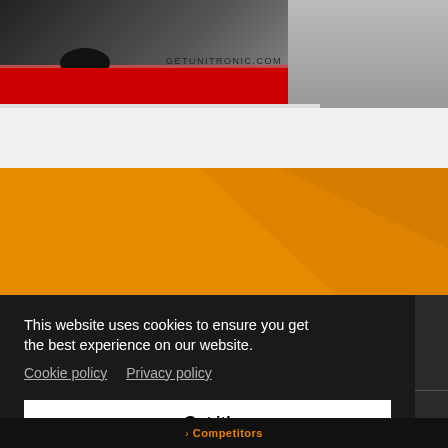[Figure (photo): Partial view of a sports car on a track with red bodywork; text overlay reads GETUNITRONIC.COM]
[Figure (other): Orange decorative banner section with subtle diagonal pattern]
This website uses cookies to ensure you get the best experience on our website. Cookie policy  Privacy policy
Got it!
> Competitors